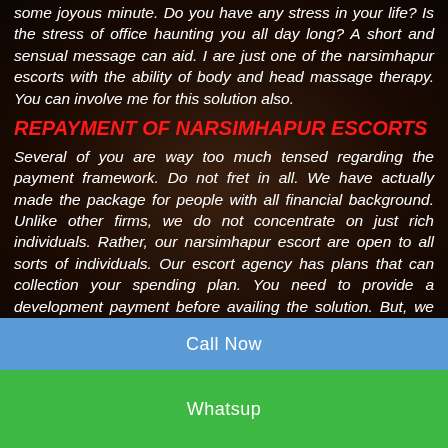some joyous minute. Do you have any stress in your life? Is the stress of office haunting you all day long? A short and sensual message can aid. I are just one of the narsimhapur escorts with the ability of body and head massage therapy. You can involve me for this solution also.
REPAYMENT OF NARSIMHAPUR ESCORTS
Several of you are way too much tensed regarding the payment framework. Do not fret in all. We have actually made the package for people with all financial background. Unlike other firms, we do not concentrate on just rich individuals. Rather, our narsimhapur escort are open to all sorts of individuals. Our escort agency has plans that can collection your spending plan. You need to provide a development payment before availing the solution. But, we are reliable in this profession. You will most definitely get your service once we have received our costs. if you want You can check the rates of other escort agencies. Lastly You will find out that our rates are in same according d...
Call Now
Whatsup